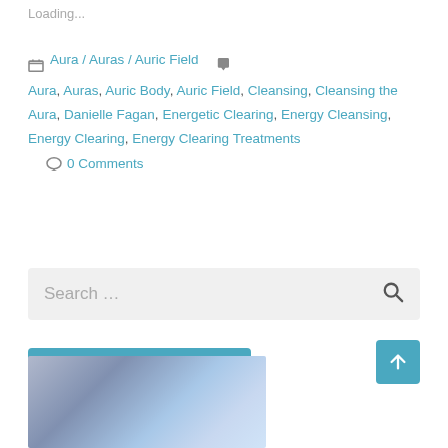Loading...
Aura / Auras / Auric Field   Aura, Auras, Auric Body, Auric Field, Cleansing, Cleansing the Aura, Danielle Fagan, Energetic Clearing, Energy Cleansing, Energy Clearing, Energy Clearing Treatments   0 Comments
Search ...
Follow Ascension Avatar
[Figure (photo): Blurry abstract photo with soft blue, purple and white tones, partially visible at bottom of page]